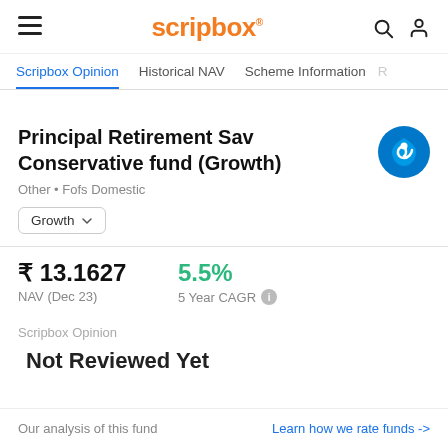Scripbox
Scripbox Opinion | Historical NAV | Scheme Information
Principal Retirement Sav Conservative fund (Growth)
Other • Fofs Domestic
Growth
₹ 13.1627
NAV (Dec 23)
5.5%
5 Year CAGR
Scripbox Opinion
Not Reviewed Yet
Our analysis of this fund
Learn how we rate funds ->